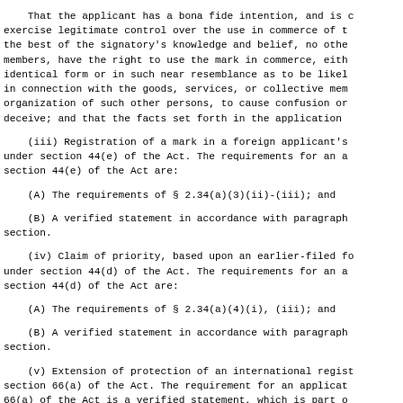That the applicant has a bona fide intention, and is c exercise legitimate control over the use in commerce of t the best of the signatory's knowledge and belief, no othe members, have the right to use the mark in commerce, eith identical form or in such near resemblance as to be likel in connection with the goods, services, or collective mem organization of such other persons, to cause confusion or deceive; and that the facts set forth in the application
(iii) Registration of a mark in a foreign applicant's under section 44(e) of the Act. The requirements for an a section 44(e) of the Act are:
(A) The requirements of § 2.34(a)(3)(ii)-(iii); and
(B) A verified statement in accordance with paragraph section.
(iv) Claim of priority, based upon an earlier-filed fo under section 44(d) of the Act. The requirements for an a section 44(d) of the Act are:
(A) The requirements of § 2.34(a)(4)(i), (iii); and
(B) A verified statement in accordance with paragraph section.
(v) Extension of protection of an international regist section 66(a) of the Act. The requirement for an applicat 66(a) of the Act is a verified statement, which is part o